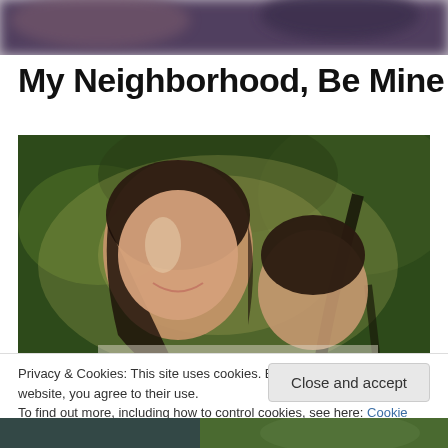[Figure (photo): Blurred header photo strip showing dark blurred background]
My Neighborhood, Be Mine
[Figure (photo): Woman with dark hair smiling, holding a toddler with curly dark hair, outdoors with trees in background]
Privacy & Cookies: This site uses cookies. By continuing to use this website, you agree to their use.
To find out more, including how to control cookies, see here: Cookie Policy
Close and accept
[Figure (photo): Partial bottom strip of another image]